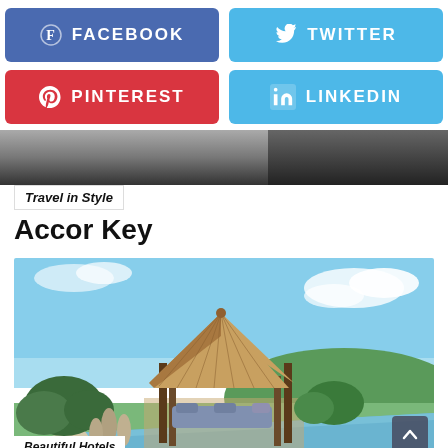[Figure (screenshot): Facebook social share button (blue)]
[Figure (screenshot): Twitter social share button (light blue)]
[Figure (screenshot): Pinterest social share button (red)]
[Figure (screenshot): LinkedIn social share button (light blue)]
[Figure (photo): Partial photo of a person, dark background, top of page]
Travel in Style
Accor Key
[Figure (photo): Luxury Bali-style resort with thatched roof gazebo, infinity pool, tropical greenery, and ocean view in background]
Beautiful Hotels